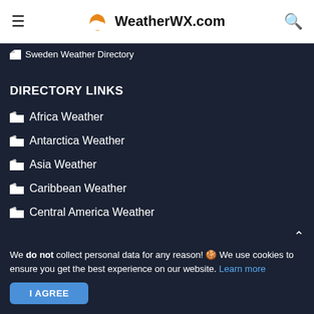WeatherWX.com
Sweden Weather Directory
DIRECTORY LINKS
Africa Weather
Antarctica Weather
Asia Weather
Caribbean Weather
Central America Weather
We do not collect personal data for any reason! 🍪 We use cookies to ensure you get the best experience on our website. Learn more